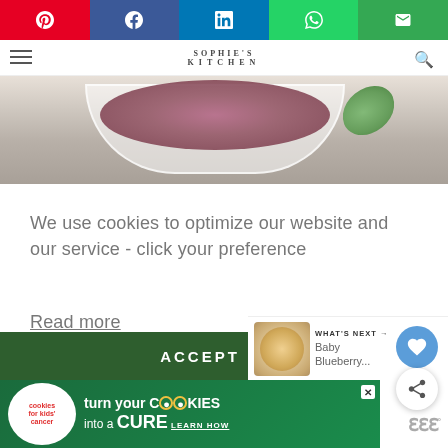[Figure (screenshot): Social sharing bar with Pinterest, Facebook, LinkedIn, WhatsApp, and Email buttons]
SOPHIE'S KITCHEN
[Figure (photo): Top-down photo of a bowl of food with greens on a light surface]
We use cookies to optimize our website and our service - click your preference
Read more
ACCEPT
WHAT'S NEXT → Baby Blueberry...
[Figure (screenshot): Advertisement banner: cookies for kids cancer - turn your cookies into a CURE LEARN HOW]